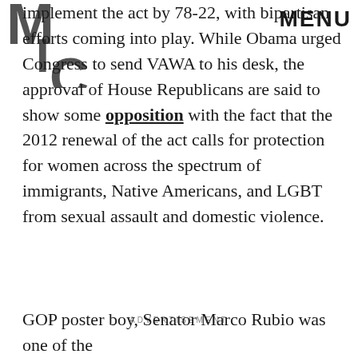MIC | MENU
implement the act by 78-22, with bipartisan efforts coming into play. While Obama urged Congress to send VAWA to his desk, the approval of House Republicans are said to show some opposition with the fact that the 2012 renewal of the act calls for protection for women across the spectrum of immigrants, Native Americans, and LGBT from sexual assault and domestic violence.
ADVERTISEMENT
GOP poster boy, Senator Marco Rubio was one of the